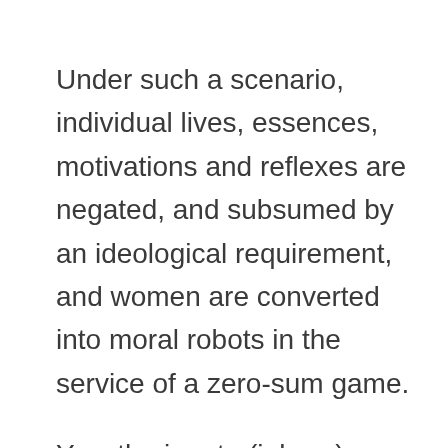Under such a scenario, individual lives, essences, motivations and reflexes are negated, and subsumed by an ideological requirement, and women are converted into moral robots in the service of a zero-sum game.
Yes, the innate (inborn) proclivity of feminism, is to bestow moral robot-hood on women. And the shimmering, razor-thin line which divides moral robot-hood from moral agency, is the line that divides the non-feminist sector from the entire feminist zone of influence. That bright line, precisely, is the